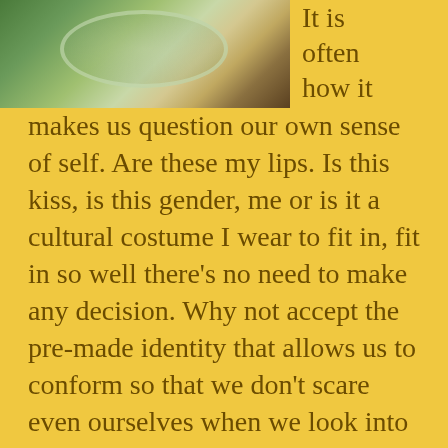[Figure (photo): A close-up photo of what appears to be a glass bowl or reflective circular object on a natural ground surface with leaves and earth]
It is often how it makes us question our own sense of self. Are these my lips. Is this kiss, is this gender, me or is it a cultural costume I wear to fit in, fit in so well there's no need to make any decision. Why not accept the pre-made identity that allows us to conform so that we don't scare even ourselves when we look into the mirror.